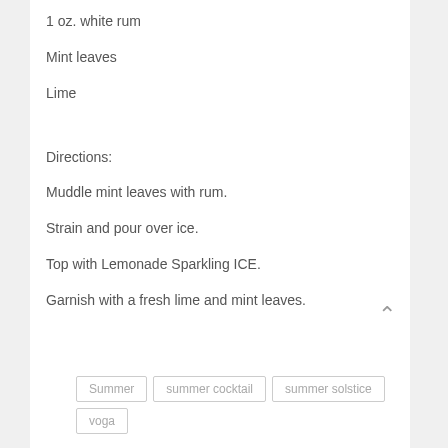1 oz. white rum
Mint leaves
Lime
Directions:
Muddle mint leaves with rum.
Strain and pour over ice.
Top with Lemonade Sparkling ICE.
Garnish with a fresh lime and mint leaves.
Summer  summer cocktail  summer solstice  voga